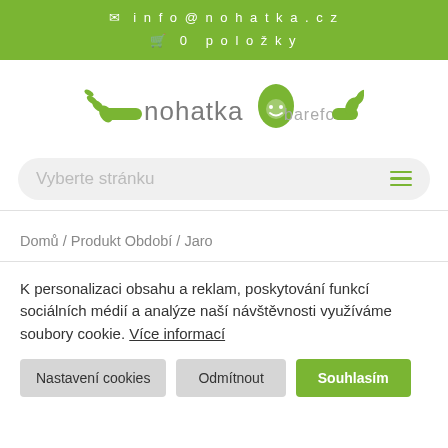✉ info@nohatka.cz
🛒 0 položky
[Figure (logo): Nohatka barefoot logo with green mushroom character and decorative hand elements]
Vyberte stránku
Domů / Produkt Období / Jaro
K personalizaci obsahu a reklam, poskytování funkcí sociálních médií a analýze naší návštěvnosti využíváme soubory cookie. Více informací
Nastavení cookies
Odmítnout
Souhlasím